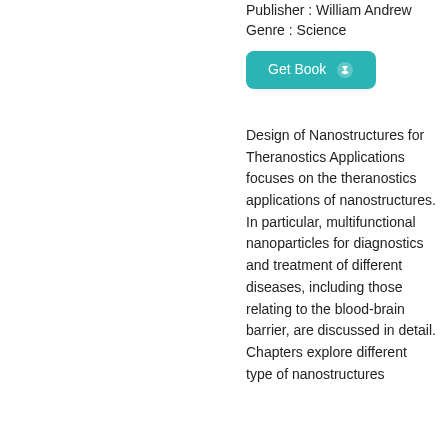Publisher : William Andrew
Genre : Science
Get Book
Design of Nanostructures for Theranostics Applications focuses on the theranostics applications of nanostructures. In particular, multifunctional nanoparticles for diagnostics and treatment of different diseases, including those relating to the blood-brain barrier, are discussed in detail. Chapters explore different type of nanostructures